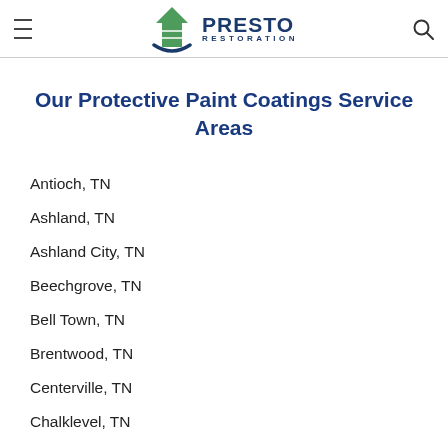Presto Restoration
Our Protective Paint Coatings Service Areas
Antioch, TN
Ashland, TN
Ashland City, TN
Beechgrove, TN
Bell Town, TN
Brentwood, TN
Centerville, TN
Chalklevel, TN